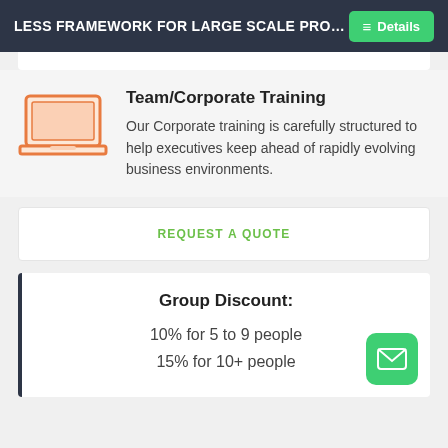LESS FRAMEWORK FOR LARGE SCALE PRO...
Team/Corporate Training
Our Corporate training is carefully structured to help executives keep ahead of rapidly evolving business environments.
REQUEST A QUOTE
Group Discount:
10% for 5 to 9 people
15% for 10+ people